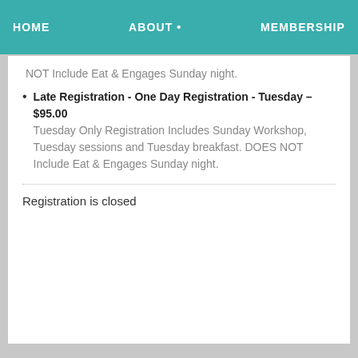HOME   ABOUT •   MEMBERSHIP
NOT Include Eat & Engages Sunday night.
Late Registration - One Day Registration - Tuesday – $95.00 Tuesday Only Registration Includes Sunday Workshop, Tuesday sessions and Tuesday breakfast. DOES NOT Include Eat & Engages Sunday night.
Registration is closed